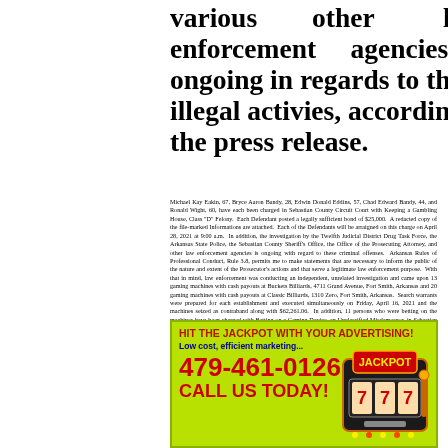various other law enforcement agencies is ongoing in regards to these illegal activies, according to the press release.
Michael Kay Eakin, 67, Bryce Aaron Bandy, 28, Edwin Donald Eddins, 57, Chad Edward Bandy, 44, and Ronald Wight, 60, have each been charged in Sebastian County Circuit Court with Keeping a Gambling House, Class "D" Felony. Each Defendant posted a legally sufficient bond of $25,000. A redacted copy of the file-marked Informations are attached. Each of the Defendants will be arraigned on this charge on April 28, 2021 at 9:00 a.m. In addition, the investigation by the Twelfth Judicial District Drug Task Force, the Arkansas State Police, the Sebastian County Sheriff's Office, the Office of the Prosecuting Attorney, and other law enforcement agencies is ongoing with regard to these criminal offenses. Arkansas Rules of Professional Conduct, Rule 3.8, permits me to make statements that are necessary to inform the public of the nature and extent of the Prosecutor's actions and that serve a legitimate law enforcement purpose. With that in mind, law enforcement was conducting an independent, unrelated investigation and came upon 13 gaming machines with cash payouts at Buckets Billiards, 4711 Grand Avenue, Fort Smith, Arkansas and 20 gaming machines with cash payouts at Classic Billiards, 1310 Zero, Fort Smith, Arkansas. Search warrants were prepared for each establishment and executed simultaneously on Friday, April 16, 2021 and the machines seized as contraband along with $62,261.06. In addition, 11 persons who were betting on the machines have been charged with Betting on a Gaming Device, an Unclassified Misdemeanor, in Sebastian County District Court—Fort Smith Division. Lastly, pursuant to the Arkansas Rules of Professional Conduct, Rule 3.6, the charges filed against Michael Kay Eakin, Bryce Aaron Bandy, Edwin Donald Eddins, Chad Edward Bandy, and Ronald Wight are merely accusations, and Michael Kay Eakin, Bryce Aaron Bandy, Edwin Donald Eddins, Chad Edward Bandy, and Ronald Wight are presumed innocent until and unless proven guilty.
[Figure (infographic): Advertisement for advertising services with slot machine graphic. Green background. Text: HIT THE JACKPOT WITH YOUR ADVERTISING! Low cost, efficient marketing... 479-461-0126 CALL US TODAY!]